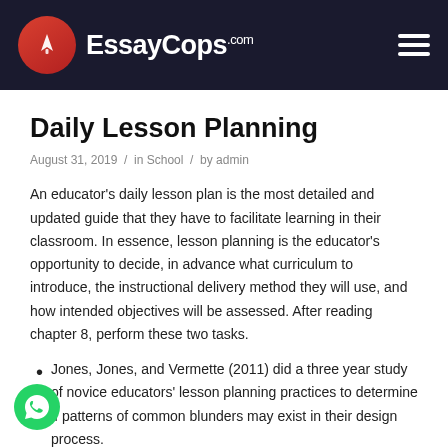EssayCops.com
Daily Lesson Planning
August 31, 2019 / in School / by admin
An educator's daily lesson plan is the most detailed and updated guide that they have to facilitate learning in their classroom. In essence, lesson planning is the educator's opportunity to decide, in advance what curriculum to introduce, the instructional delivery method they will use, and how intended objectives will be assessed. After reading chapter 8, perform these two tasks.
Jones, Jones, and Vermette (2011) did a three year study of novice educators' lesson planning practices to determine if patterns of common blunders may exist in their design process.